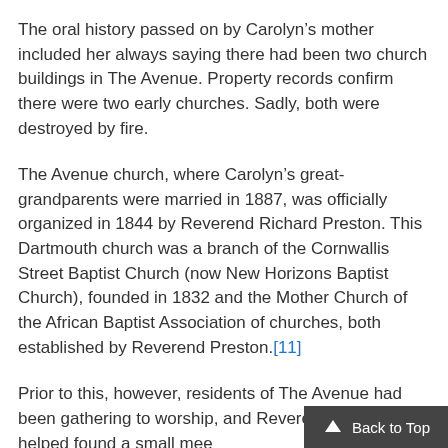The oral history passed on by Carolyn's mother included her always saying there had been two church buildings in The Avenue. Property records confirm there were two early churches. Sadly, both were destroyed by fire.
The Avenue church, where Carolyn's great-grandparents were married in 1887, was officially organized in 1844 by Reverend Richard Preston. This Dartmouth church was a branch of the Cornwallis Street Baptist Church (now New Horizons Baptist Church), founded in 1832 and the Mother Church of the African Baptist Association of churches, both established by Reverend Preston.[11]
Prior to this, however, residents of The Avenue had been gathering to worship, and Reverend Preston had helped found a small mee...